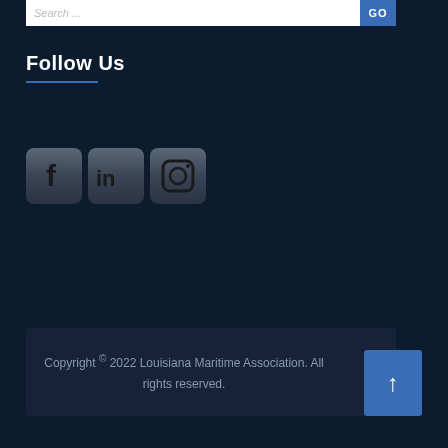Search ...
Follow Us
[Figure (illustration): Three social media icon buttons: Facebook (f), LinkedIn (in), and Instagram (camera icon), styled with dark metallic gradient backgrounds and rounded corners.]
Copyright © 2022 Louisiana Maritime Association. All rights reserved.